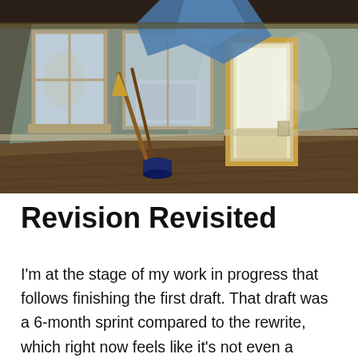[Figure (photo): An abandoned or dilapidated interior room with peeling blue-painted walls, worn wooden floors, a broom, a paint bucket, a window with an air conditioning unit, and an open door letting in light. A blue tarp or cloth hangs from the ceiling.]
Revision Revisited
I'm at the stage of my work in progress that follows finishing the first draft. That draft was a 6-month sprint compared to the rewrite, which right now feels like it's not even a marathon, but a journey. Several months ago, I heard a talk by a writer and editor about the psychological